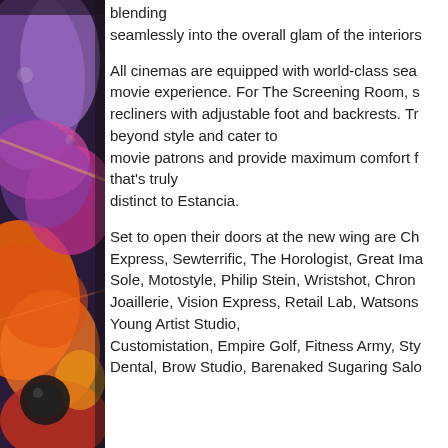[Figure (illustration): Colorful graffiti/mural artwork with vibrant purple, orange, pink, and red swirling patterns, partially visible on the left side of the page.]
blending seamlessly into the overall glam of the interiors All cinemas are equipped with world-class seating for the movie experience. For The Screening Room, special recliners with adjustable foot and backrests. These go beyond style and cater to movie patrons and provide maximum comfort for a movie experience that's truly distinct to Estancia. Set to open their doors at the new wing are Ch... Express, Sewterrific, The Horologist, Great Ima... Sole, Motostyle, Philip Stein, Wristshot, Chron... Joaillerie, Vision Express, Retail Lab, Watsons... Young Artist Studio, Customistation, Empire Golf, Fitness Army, Sty... Dental, Brow Studio, Barenaked Sugaring Salo...